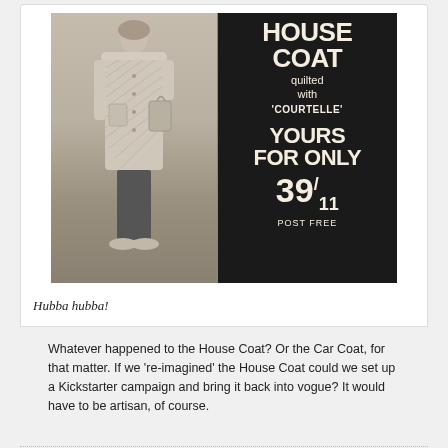[Figure (photo): Vintage black-and-white advertisement for a quilted house coat. Left side shows a woman wearing the quilted coat. Right side is black background with white text reading: HOUSE COAT, quilted with 'COURTELLE', YOURS FOR ONLY 39/11, POST FREE. Bottom banner partially visible.]
Hubba hubba!
Whatever happened to the House Coat? Or the Car Coat, for that matter. If we 're-imagined' the House Coat could we set up a Kickstarter campaign and bring it back into vogue? It would have to be artisan, of course.